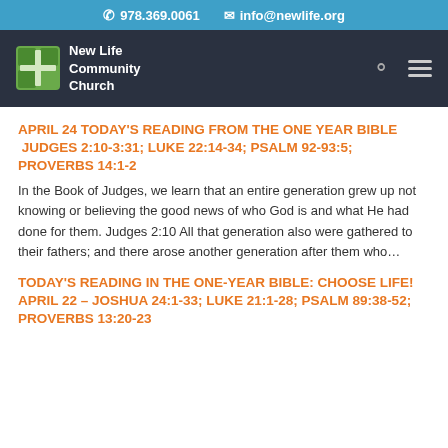978.369.0061  info@newlife.org
[Figure (logo): New Life Community Church logo with green cross/window icon and white text on dark navy background, with search and hamburger menu icons]
APRIL 24 TODAY'S READING FROM THE ONE YEAR BIBLE  Judges 2:10-3:31; Luke 22:14-34; Psalm 92-93:5; Proverbs 14:1-2
In the Book of Judges, we learn that an entire generation grew up not knowing or believing the good news of who God is and what He had done for them. Judges 2:10 All that generation also were gathered to their fathers; and there arose another generation after them who...
TODAY'S READING IN THE ONE-YEAR BIBLE: Choose Life! APRIL 22 – Joshua 24:1-33; Luke 21:1-28; Psalm 89:38-52; Proverbs 13:20-23